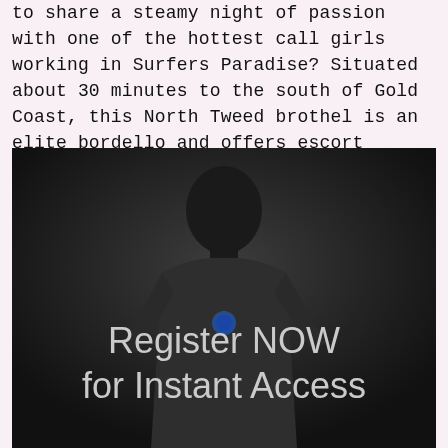to share a steamy night of passion with one of the hottest call girls working in Surfers Paradise? Situated about 30 minutes to the south of Gold Coast, this North Tweed brothel is an elite bordello and offers escort services.
[Figure (photo): Dark moody photo of a person in a white sports jersey with text overlay reading 'Register NOW for Instant Access']